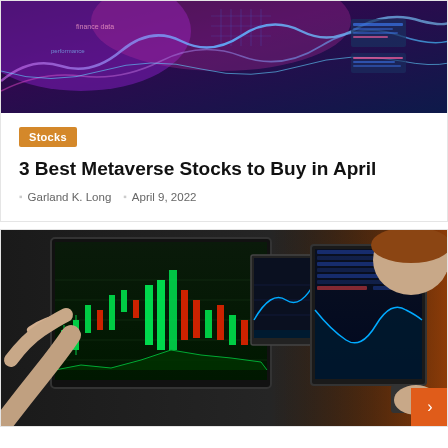[Figure (photo): Abstract digital finance background with neon pink, purple and blue data visualization, charts, and glowing wave patterns on dark background]
Stocks
3 Best Metaverse Stocks to Buy in April
Garland K. Long   April 9, 2022
[Figure (photo): Stock trader at desk with multiple monitors displaying financial charts and candlestick graphs, person on phone in background, warm orange light from right side]